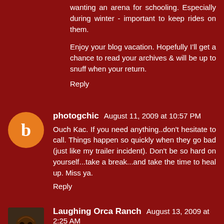wanting an arena for schooling. Especially during winter - important to keep rides on them.
Enjoy your blog vacation. Hopefully I'll get a chance to read your archives & will be up to snuff when your return.
Reply
photogchic   August 11, 2009 at 10:57 PM
Ouch Kac. If you need anything..don't hesitate to call. Things happen so quickly when they go bad (just like my trailer incident). Don't be so hard on yourself...take a break...and take the time to heal up. Miss ya.
Reply
Laughing Orca Ranch   August 13, 2009 at 2:25 AM
Oh no, Kacy. As I was reading my heart tightened and I could barely breathe. I hope you are ok today? I hope you haven't injured any ligaments or tendons. Soft tissue injuries are the worse and take a lomg time to heal. I am